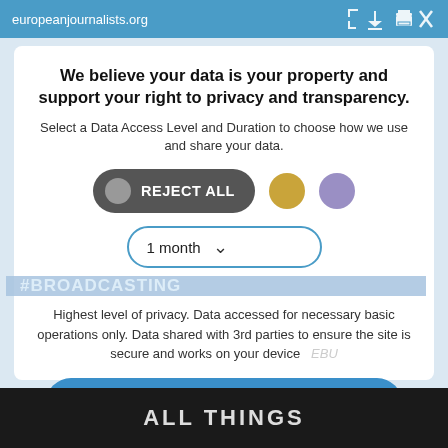europeanjournalists.org
We believe your data is your property and support your right to privacy and transparency.
Select a Data Access Level and Duration to choose how we use and share your data.
REJECT ALL
1 month
#BROADCASTING
Highest level of privacy. Data accessed for necessary basic operations only. Data shared with 3rd parties to ensure the site is secure and works on your device  EBU
Save my preferences
Customize
Privacy policy
ALL THINGS